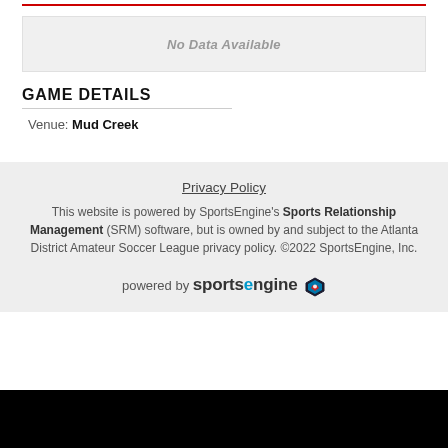ROVERS FC GOALKEEPERS
No Data Available
GAME DETAILS
Venue: Mud Creek
Privacy Policy
This website is powered by SportsEngine's Sports Relationship Management (SRM) software, but is owned by and subject to the Atlanta District Amateur Soccer League privacy policy. ©2022 SportsEngine, Inc.
powered by sportsengine